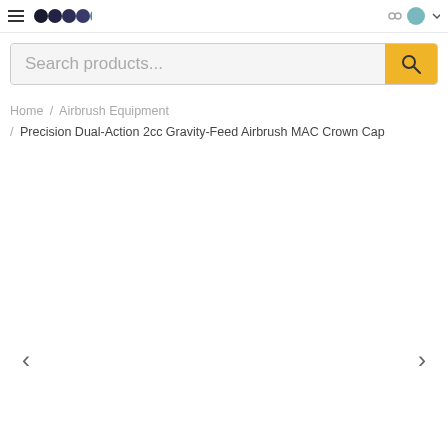Search products... [search bar with magnifying glass icon]
Home / Airbrush Equipment / Precision Dual-Action 2cc Gravity-Feed Airbrush MAC Crown Cap